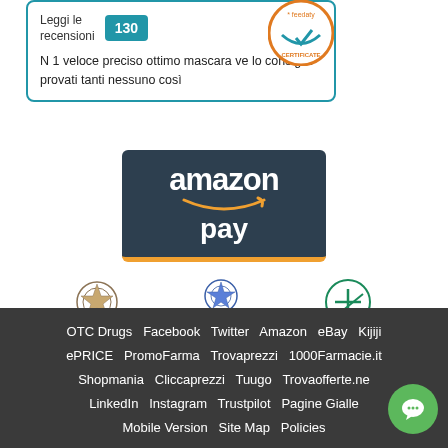[Figure (screenshot): Review widget showing 'Leggi le recensioni' with count 130, feedaty certificate badge, and review text 'N 1 veloce preciso ottimo mascara ve lo consiglio provati tanti nessuno così']
[Figure (logo): Amazon Pay logo on dark background with orange underline]
[Figure (logo): Three logos: Ministero della Salute, AIFA (Agenzia Italiana del Farmaco), FARMADATI]
OTC Drugs  Facebook  Twitter  Amazon  eBay  Kijiji  ePRICE  PromoFarma  Trovaprezzi  1000Farmacie.it  Shopmania  Cliccaprezzi  Tuugo  Trovaofferte.ne  LinkedIn  Instagram  Trustpilot  Pagine Gialle  Mobile Version  Site Map  Policies